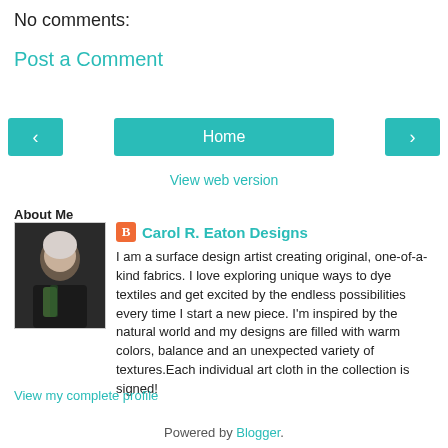No comments:
Post a Comment
[Figure (other): Navigation bar with left arrow button, Home button, and right arrow button, all teal/cyan colored]
View web version
About Me
[Figure (photo): Profile photo of Carol R. Eaton, a woman with white/silver hair wearing dark clothing with a colorful scarf, dark background]
Carol R. Eaton Designs
I am a surface design artist creating original, one-of-a-kind fabrics. I love exploring unique ways to dye textiles and get excited by the endless possibilities every time I start a new piece. I'm inspired by the natural world and my designs are filled with warm colors, balance and an unexpected variety of textures.Each individual art cloth in the collection is signed!
View my complete profile
Powered by Blogger.